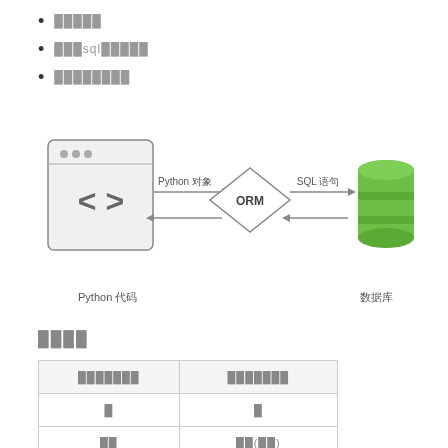█████
███sql█████
████████
[Figure (flowchart): ORM architecture diagram showing Python code (browser/code icon) connected via bidirectional arrows through an ORM diamond shape to a Database (green cylinder). Left arrow labeled 'Python 对象', right arrow labeled 'SQL 语句'.]
Python 代码
数据库
████
| ███████ | ███████ |
| --- | --- |
| █ | █ |
| ██ | ██(██) |
| ██ | ██(█████) |